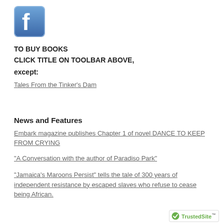[Figure (logo): Facebook logo icon — blue rounded square with white 'f']
TO BUY BOOKS
CLICK TITLE ON TOOLBAR ABOVE,
except:
Tales From the Tinker's Dam
News and Features
Embark magazine publishes Chapter 1 of novel DANCE TO KEEP FROM CRYING
"A Conversation with the author of Paradiso Park"
"Jamaica's Maroons Persist" tells the tale of 300 years of independent resistance by escaped slaves who refuse to cease being African.
[Figure (logo): TrustedSite badge with green checkmark]